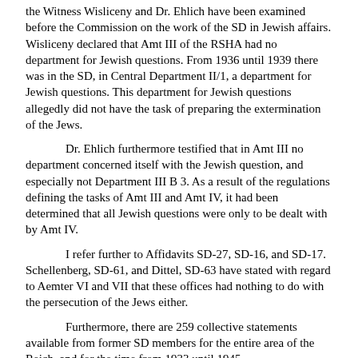The Witness Wisliceny and Dr. Ehlich have been examined before the Commission on the work of the SD in Jewish affairs. Wisliceny declared that Amt III of the RSHA had no department for Jewish questions. From 1936 until 1939 there was in the SD, in Central Department II/1, a department for Jewish questions. This department for Jewish questions allegedly did not have the task of preparing the extermination of the Jews.
Dr. Ehlich furthermore testified that in Amt III no department concerned itself with the Jewish question, and especially not Department III B 3. As a result of the regulations defining the tasks of Amt III and Amt IV, it had been determined that all Jewish questions were only to be dealt with by Amt IV.
I refer further to Affidavits SD-27, SD-16, and SD-17. Schellenberg, SD-61, and Dittel, SD-63 have stated with regard to Aemter VI and VII that these offices had nothing to do with the persecution of the Jews either.
Furthermore, there are 259 collective statements available from former SD members for the entire area of the Reich, and for the time from 1933 until 1945.
THE PRESIDENT: Have any of these affidavits to which you are referring been translated?
DR. GAWLIK: No, My Lord, only the summary affidavit has been translated.